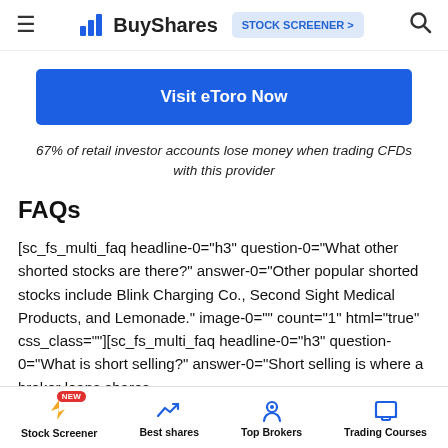BuyShares | STOCK SCREENER >
[Figure (other): Visit eToro Now – blue CTA button]
67% of retail investor accounts lose money when trading CFDs with this provider
FAQs
[sc_fs_multi_faq headline-0="h3" question-0="What other shorted stocks are there?" answer-0="Other popular shorted stocks include Blink Charging Co., Second Sight Medical Products, and Lemonade." image-0="" count="1" html="true" css_class=""][sc_fs_multi_faq headline-0="h3" question-0="What is short selling?" answer-0="Short selling is where a broker loans shares
Stock Screener | Best shares | Top Brokers | Trading Courses